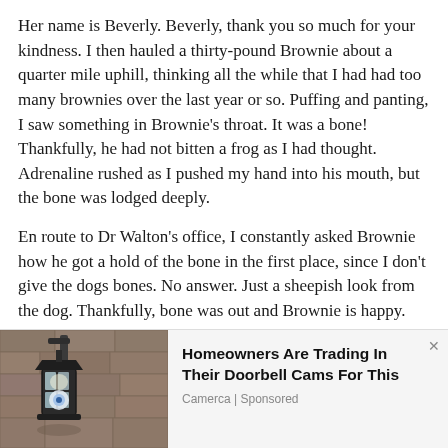Her name is Beverly. Beverly, thank you so much for your kindness. I then hauled a thirty-pound Brownie about a quarter mile uphill, thinking all the while that I had had too many brownies over the last year or so. Puffing and panting, I saw something in Brownie's throat. It was a bone! Thankfully, he had not bitten a frog as I had thought. Adrenaline rushed as I pushed my hand into his mouth, but the bone was lodged deeply.
En route to Dr Walton's office, I constantly asked Brownie how he got a hold of the bone in the first place, since I don't give the dogs bones. No answer. Just a sheepish look from the dog. Thankfully, bone was out and Brownie is happy. He's no longer on a diet.
Veoma Ali is an author, broadcaster, advertising exec and, most important, a karaoke lover.
[Figure (photo): Advertisement showing a lantern/security camera on a stone wall. Text reads: Homeowners Are Trading In Their Doorbell Cams For This. Source: Camerca | Sponsored]